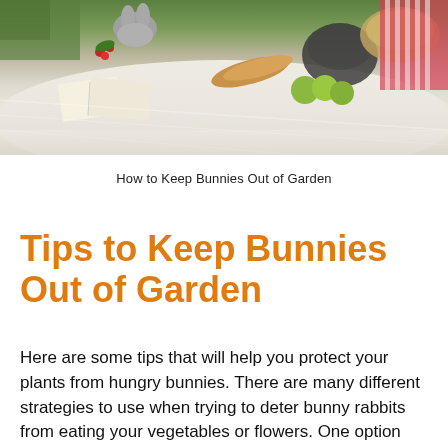[Figure (photo): Overhead photo of a picnic blanket scene with a rabbit, an open book, a woven bag, bread, green apples, and a striped blanket on grass.]
How to Keep Bunnies Out of Garden
Tips to Keep Bunnies Out of Garden
Here are some tips that will help you protect your plants from hungry bunnies. There are many different strategies to use when trying to deter bunny rabbits from eating your vegetables or flowers. One option would be installing fencing around certain areas where rabbits have been known to enter the area. You can